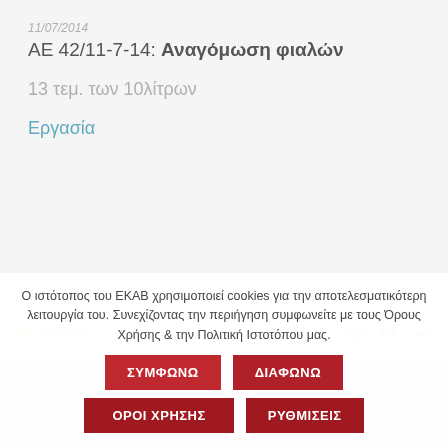11/07/2014
ΑΕ 42/11-7-14: Αναγόμωση φιαλών
13 τεμ. των 10λίτρων
Εργασία
Κοζανη
Ο ιστότοπος του ΕΚΑΒ χρησιμοποιεί cookies για την αποτελεσματικότερη λειτουργία του. Συνεχίζοντας την περιήγηση συμφωνείτε με τους Όρους Χρήσης & την Πολιτική Ιστοτόπου μας.